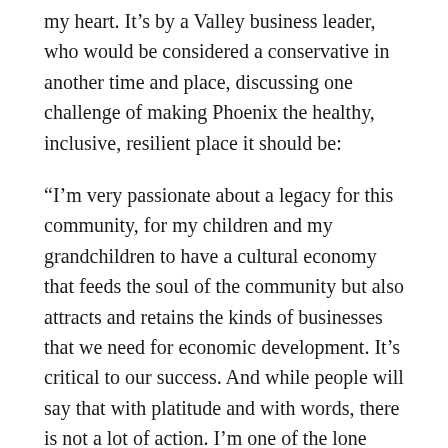my heart. It’s by a Valley business leader, who would be considered a conservative in another time and place, discussing one challenge of making Phoenix the healthy, inclusive, resilient place it should be:
“I’m very passionate about a legacy for this community, for my children and my grandchildren to have a cultural economy that feeds the soul of the community but also attracts and retains the kinds of businesses that we need for economic development. It’s critical to our success. And while people will say that with platitude and with words, there is not a lot of action. I’m one of the lone rangers out there just beating the drum. I think I’m like John Adams: I’m obnoxious and disliked about this, but, nonetheless, it’s important. In my world, no is just the beginning of the conversation.”